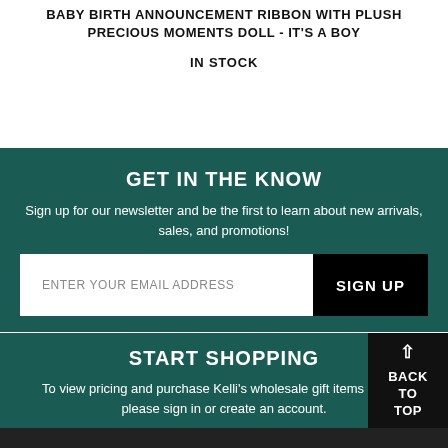BABY BIRTH ANNOUNCEMENT RIBBON WITH PLUSH PRECIOUS MOMENTS DOLL - IT'S A BOY
IN STOCK
GET IN THE KNOW
Sign up for our newsletter and be the first to learn about new arrivals, sales, and promotions!
ENTER YOUR EMAIL ADDRESS
SIGN UP
START SHOPPING
To view pricing and purchase Kelli's wholesale gift items online, please sign in or create an account.
BACK TO TOP